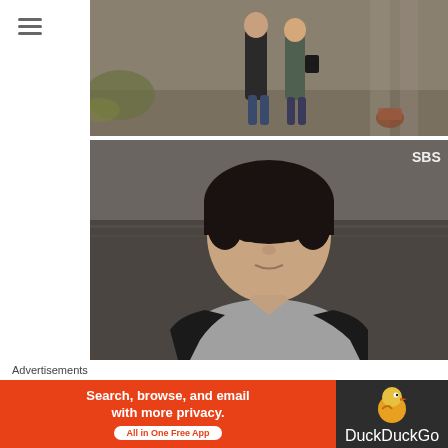[Figure (screenshot): Screenshot of a webpage showing two TV drama stills (SBS) from 'I Remember You' or similar Korean drama. Top image shows two people walking in an alley. Bottom image shows a close-up of a young Korean male actor with bowl-cut hair wearing a hoodie and jacket, with 'SBS' watermark in top right.]
In-A talks to Jin-Woo and inquires about his father's memory.
Episode 3 passed the race test, and the episode
Advertisements
[Figure (screenshot): DuckDuckGo advertisement banner. Orange background on left with text 'Search, browse, and email with more privacy. All in One Free App'. Right side dark background with DuckDuckGo duck logo and 'DuckDuckGo' text.]